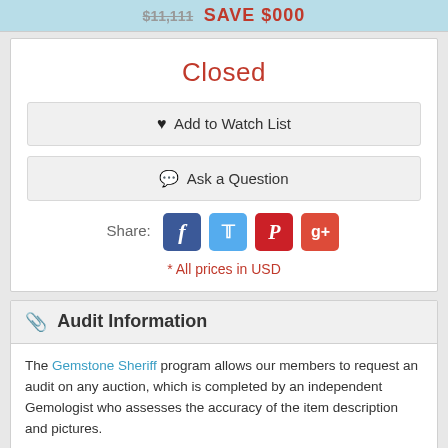SAVE $000
Closed
♥ Add to Watch List
💬 Ask a Question
Share: [Facebook] [Twitter] [Pinterest] [Google+]
* All prices in USD
🔗 Audit Information
The Gemstone Sheriff program allows our members to request an audit on any auction, which is completed by an independent Gemologist who assesses the accuracy of the item description and pictures.
Pricing & Details